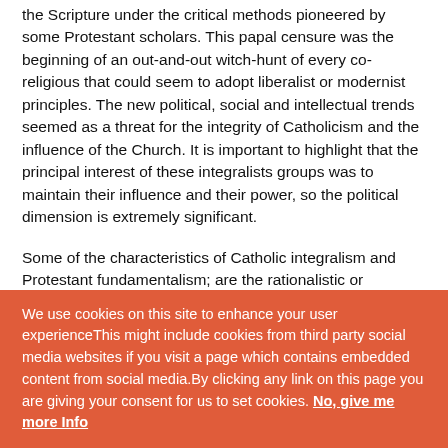the Scripture under the critical methods pioneered by some Protestant scholars. This papal censure was the beginning of an out-and-out witch-hunt of every co-religious that could seem to adopt liberalist or modernist principles. The new political, social and intellectual trends seemed as a threat for the integrity of Catholicism and the influence of the Church. It is important to highlight that the principal interest of these integralists groups was to maintain their influence and their power, so the political dimension is extremely significant.
Some of the characteristics of Catholic integralism and Protestant fundamentalism; are the rationalistic or literalistic application of propositions from authoritative texts and the rejection of a subjective reinterpretations of Christin revelations. Also, they claimed affinity for conservative or
We use cookies on this site to enhance your user experienceThis might include cookies from third party social media websites if you visit a page which contains embedded content from social media.By clicking any link on this page you are giving your consent for us to set cookies. No, give me more Info